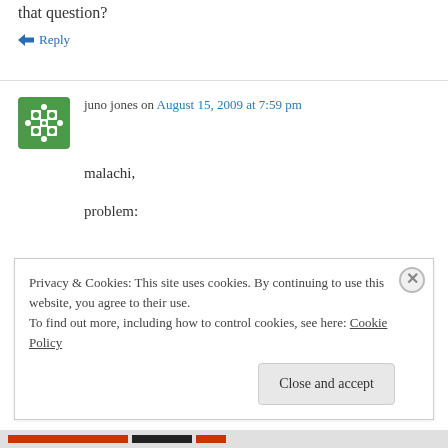that question?
↳ Reply
juno jones on August 15, 2009 at 7:59 pm
malachi,
problem:
Privacy & Cookies: This site uses cookies. By continuing to use this website, you agree to their use.
To find out more, including how to control cookies, see here: Cookie Policy
Close and accept